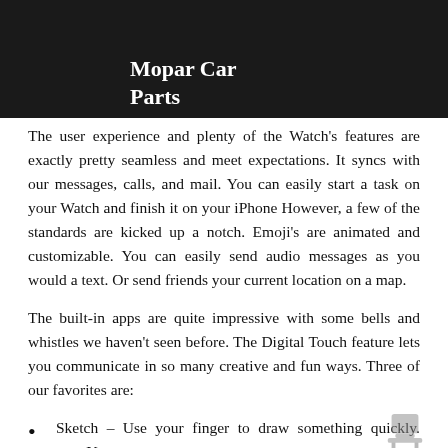Mopar Car Parts
The user experience and plenty of the Watch's features are exactly pretty seamless and meet expectations. It syncs with our messages, calls, and mail. You can easily start a task on your Watch and finish it on your iPhone However, a few of the standards are kicked up a notch. Emoji's are animated and customizable. You can easily send audio messages as you would a text. Or send friends your current location on a map.
The built-in apps are quite impressive with some bells and whistles we haven't seen before. The Digital Touch feature lets you communicate in so many creative and fun ways. Three of our favorites are:
Sketch – Use your finger to draw something quickly. Your friend on the other end can watch your drawing animate, then respond with a custom creation for you.